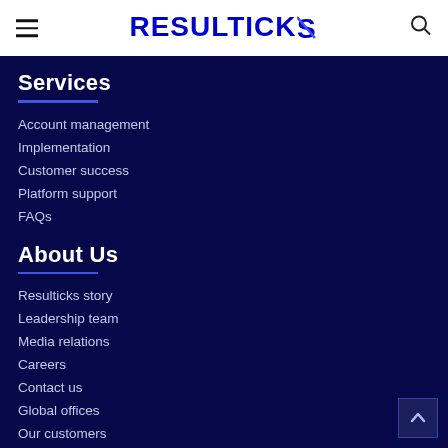RESULTICKS
Services
Account management
Implementation
Customer success
Platform support
FAQs
About Us
Resulticks story
Leadership team
Media relations
Careers
Contact us
Global offices
Our customers